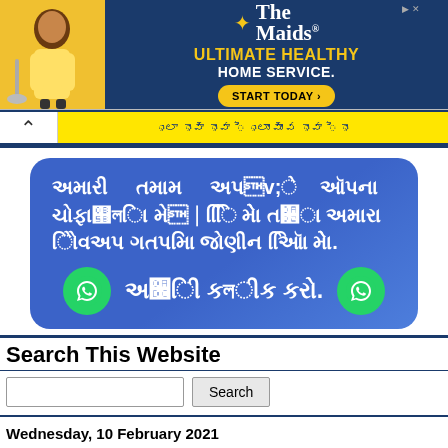[Figure (other): The Maids advertisement banner: yellow background on left with maid figure, dark blue center with The Maids logo star, text ULTIMATE HEALTHY HOME SERVICE., START TODAY button]
[Figure (other): Yellow banner with Gujarati text and chevron/arrow icon on left, blue top border]
[Figure (other): WhatsApp group join banner in blue with Gujarati text and two WhatsApp icons with click here text]
Search This Website
Search [search input] [Search button]
Wednesday, 10 February 2021
Priciding officer And Other Poling